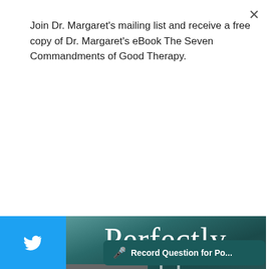Join Dr. Margaret's mailing list and receive a free copy of Dr. Margaret's eBook The Seven Commandments of Good Therapy.
Subscribe
[Figure (screenshot): Social media sharing sidebar with Twitter (blue), Pinterest (red), and a plus button (gray)]
[Figure (photo): Book cover for 'Perfectly Hidden Depression: How to Break Free from the Perfectionism that Masks Your Depression' with teal/dark background and white serif text]
🎤 Record Question for Po...